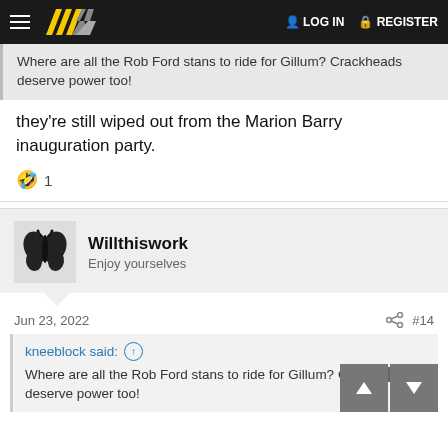LOG IN  REGISTER
Where are all the Rob Ford stans to ride for Gillum? Crackheads deserve power too!
they're still wiped out from the Marion Barry inauguration party.
🤣 1
Willthiswork
Enjoy yourselves
Jun 23, 2022  #14
kneeblock said: ↑
Where are all the Rob Ford stans to ride for Gillum? Crackheads deserve power too!